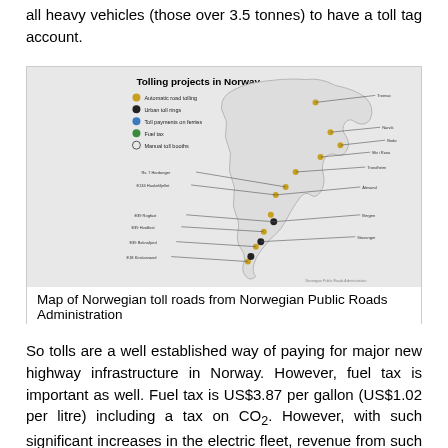all heavy vehicles (those over 3.5 tonnes) to have a toll tag account.
[Figure (map): Map of Norwegian toll roads showing tolling projects in Norway with legend indicating: Automatic road tolling (gold dots), Urban toll rings (black dots), Toll payment on ferries (blue dots), Fuel tax (green dots), Manual toll booths (white circles). Map shows Norway's geography with numerous labeled toll locations and lines connecting to labels.]
Map of Norwegian toll roads from Norwegian Public Roads Administration
So tolls are a well established way of paying for major new highway infrastructure in Norway. However, fuel tax is important as well. Fuel tax is US$3.87 per gallon (US$1.02 per litre) including a tax on CO2. However, with such significant increases in the electric fleet, revenue from such tax will be dropping significantly. Will Norway increase such